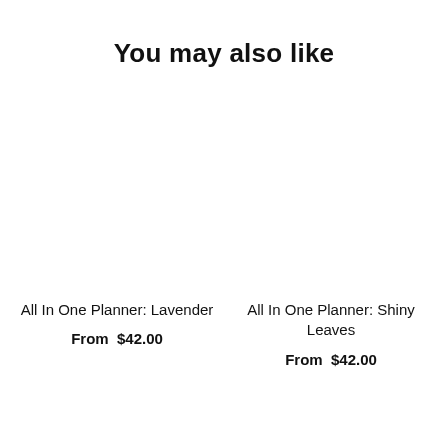You may also like
All In One Planner: Lavender
From  $42.00
All In One Planner: Shiny Leaves
From  $42.00